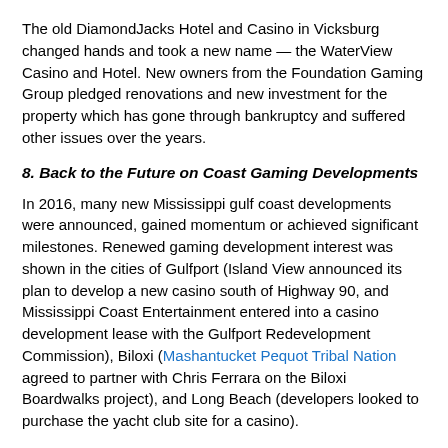The old DiamondJacks Hotel and Casino in Vicksburg changed hands and took a new name — the WaterView Casino and Hotel. New owners from the Foundation Gaming Group pledged renovations and new investment for the property which has gone through bankruptcy and suffered other issues over the years.
8. Back to the Future on Coast Gaming Developments
In 2016, many new Mississippi gulf coast developments were announced, gained momentum or achieved significant milestones. Renewed gaming development interest was shown in the cities of Gulfport (Island View announced its plan to develop a new casino south of Highway 90, and Mississippi Coast Entertainment entered into a casino development lease with the Gulfport Redevelopment Commission), Biloxi (Mashantucket Pequot Tribal Nation agreed to partner with Chris Ferrara on the Biloxi Boardwalks project), and Long Beach (developers looked to purchase the yacht club site for a casino).